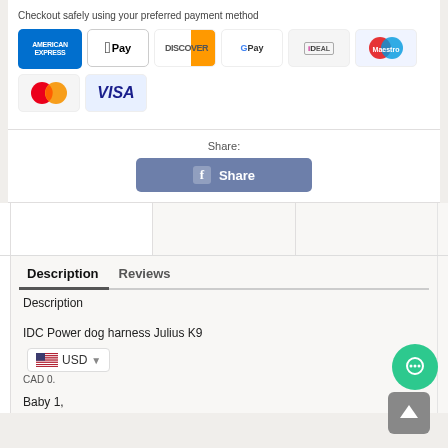Checkout safely using your preferred payment method
[Figure (logo): Payment method logos: American Express, Apple Pay, Discover, Google Pay, iDEAL, Maestro, Mastercard, Visa]
Share:
[Figure (other): Facebook Share button]
Description
Reviews
Description
IDC Power dog harness Julius K9
[Figure (other): USD currency selector widget with US flag]
CAD 0.
Baby 1,